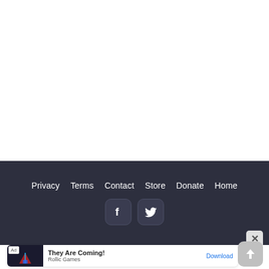Privacy   Terms   Contact   Store   Donate   Home
[Figure (screenshot): Facebook and Twitter social media icon buttons (rounded square buttons with white icons on dark background)]
[Figure (screenshot): Advertisement banner: 'They Are Coming!' by Rollic Games with Download link and close button]